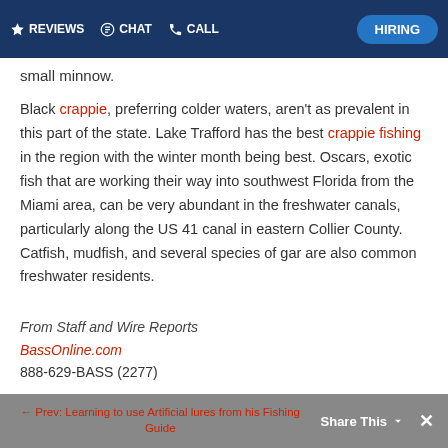REVIEWS  CHAT  CALL  HIRING
small minnow.
Black crappie, preferring colder waters, aren't as prevalent in this part of the state. Lake Trafford has the best crappie fishing in the region with the winter month being best. Oscars, exotic fish that are working their way into southwest Florida from the Miami area, can be very abundant in the freshwater canals, particularly along the US 41 canal in eastern Collier County. Catfish, mudfish, and several species of gar are also common freshwater residents.
From Staff and Wire Reports
BassOnline.com
888-629-BASS (2277)
← Prev: Learning to use Artificial lures from his Fishing Guide   Share This   ×